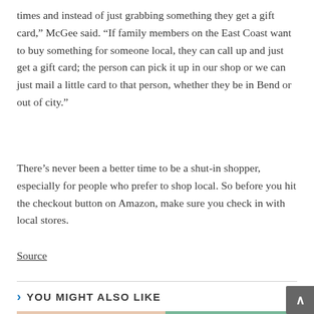times and instead of just grabbing something they get a gift card,” McGee said. “If family members on the East Coast want to buy something for someone local, they can call up and just get a gift card; the person can pick it up in our shop or we can just mail a little card to that person, whether they be in Bend or out of city.”
There’s never been a better time to be a shut-in shopper, especially for people who prefer to shop local. So before you hit the checkout button on Amazon, make sure you check in with local stores.
Source
YOU MIGHT ALSO LIKE
[Figure (photo): Partial image strip showing colorful content, partially visible at the bottom of the page]